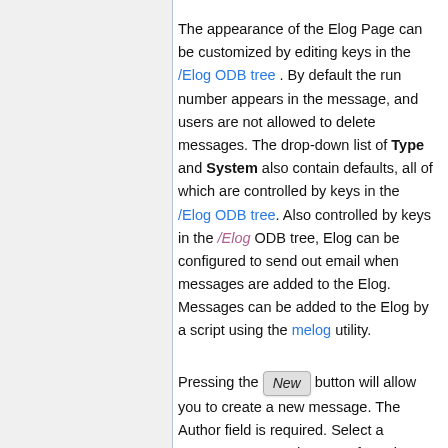The appearance of the Elog Page can be customized by editing keys in the /Elog ODB tree . By default the run number appears in the message, and users are not allowed to delete messages. The drop-down list of Type and System also contain defaults, all of which are controlled by keys in the /Elog ODB tree. Also controlled by keys in the /Elog ODB tree, Elog can be configured to send out email when messages are added to the Elog. Messages can be added to the Elog by a script using the melog utility.
Pressing the New button will allow you to create a new message. The Author field is required. Select a Message Type and System from the drop-down list.